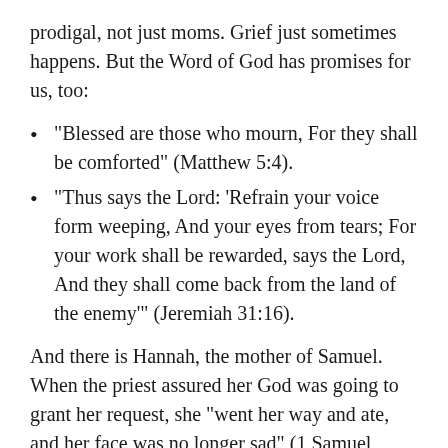prodigal, not just moms. Grief just sometimes happens. But the Word of God has promises for us, too:
“Blessed are those who mourn, For they shall be comforted” (Matthew 5:4).
“Thus says the Lord: ‘Refrain your voice form weeping, And your eyes from tears; For your work shall be rewarded, says the Lord, And they shall come back from the land of the enemy’” (Jeremiah 31:16).
And there is Hannah, the mother of Samuel. When the priest assured her God was going to grant her request, she “went her way and ate, and her face was no longer sad” (1 Samuel 1:18).
I know this season is difficult, but I also know that God is faithful to keep His